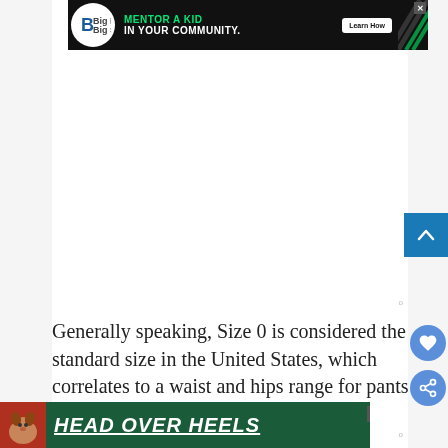[Figure (other): Advertisement banner: Big Brothers Big Sisters of America - Mentor a Kid in Your Community. Learn How button. Black background with green text and diagonal stripe graphic.]
Generally speaking, Size 0 is considered the standard size in the United States, which correlates to a waist and hips range for pants sizes. Every size up has a 12-inch
[Figure (other): Advertisement banner at bottom: Head Over Heels, green background with dog image and bold italic white text.]